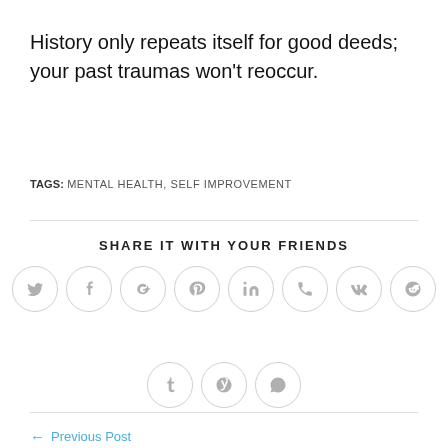History only repeats itself for good deeds; your past traumas won't reoccur.
TAGS: MENTAL HEALTH, SELF IMPROVEMENT
SHARE IT WITH YOUR FRIENDS
[Figure (infographic): Row of social sharing icon buttons: Twitter, Facebook, Google+, Pinterest, LinkedIn, Phone/Viber, VK, Reddit; second row: Tumblr, Viadeo, WhatsApp]
← Previous Post
14 traits that can help you become a self-actualized